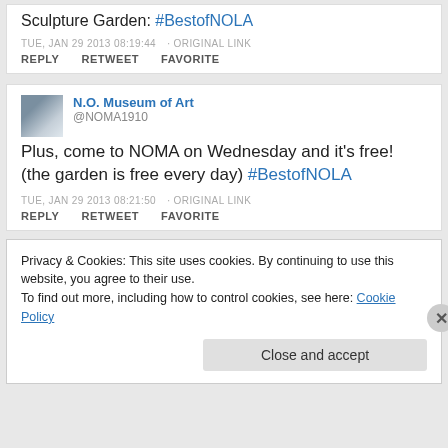Sculpture Garden: #BestofNOLA
TUE, JAN 29 2013 08:19:44 · ORIGINAL LINK
REPLY   RETWEET   FAVORITE
N.O. Museum of Art @NOMA1910 Plus, come to NOMA on Wednesday and it's free! (the garden is free every day) #BestofNOLA
TUE, JAN 29 2013 08:21:50 · ORIGINAL LINK
REPLY   RETWEET   FAVORITE
Privacy & Cookies: This site uses cookies. By continuing to use this website, you agree to their use. To find out more, including how to control cookies, see here: Cookie Policy
Close and accept